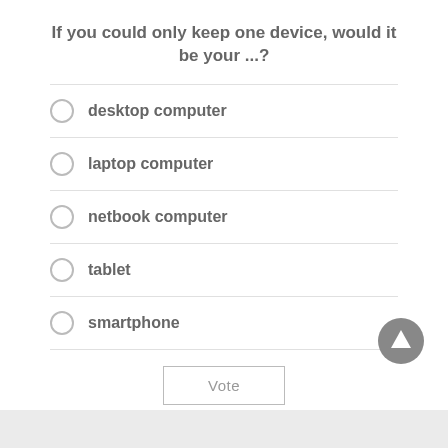If you could only keep one device, would it be your ...?
desktop computer
laptop computer
netbook computer
tablet
smartphone
Vote
View Results